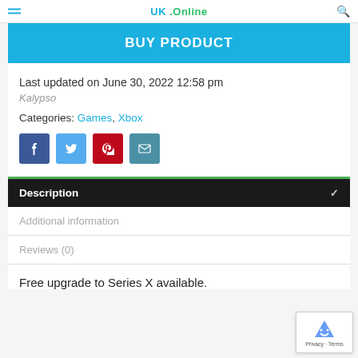UK .Online
BUY PRODUCT
Last updated on June 30, 2022 12:58 pm
Kalypso
Categories: Games, Xbox
[Figure (other): Social share buttons: Facebook, Twitter, Pinterest, Email]
Description
Additional information
Reviews (0)
Free upgrade to Series X available.